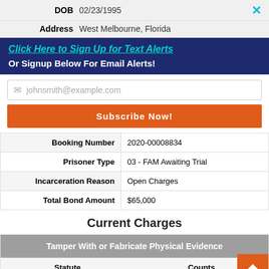| Field | Value |
| --- | --- |
| DOB | 02/23/1995 |
| Address | West Melbourne, Florida |
Click Here to Sign Up for Text Alerts
Or Signup Below For Email Alerts!
johnsmith@example.com
Subscribe Now!
| Field | Value |
| --- | --- |
| Booking Number | 2020-00008834 |
| Prisoner Type | 03 - FAM Awaiting Trial |
| Incarceration Reason | Open Charges |
| Total Bond Amount | $65,000 |
Current Charges
| Statute | Counts |
| --- | --- |
| Tamper With or Fabricate Physical Evidence |  |